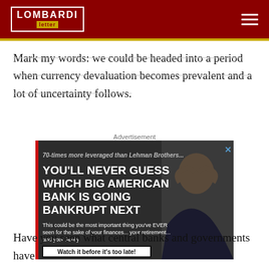LOMBARDI letters
Mark my words: we could be headed into a period when currency devaluation becomes prevalent and a lot of uncertainty follows.
Advertisement
[Figure (other): Advertisement banner: '70-times more leveraged than Lehman Brothers... YOU'LL NEVER GUESS WHICH BIG AMERICAN BANK IS GOING BANKRUPT NEXT. This could be the most important thing you've EVER seen for the sake of your finances... your retirement... and your family. Watch it before it's too late!']
Have you seen what central banks and governments have